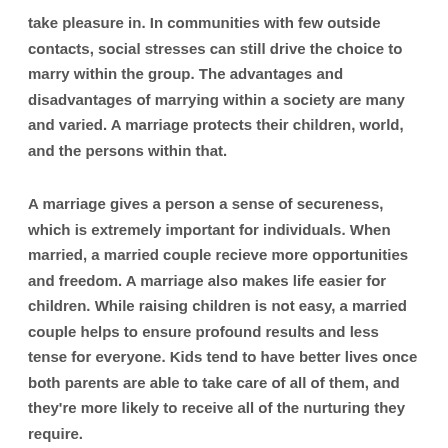take pleasure in. In communities with few outside contacts, social stresses can still drive the choice to marry within the group. The advantages and disadvantages of marrying within a society are many and varied. A marriage protects their children, world, and the persons within that.
A marriage gives a person a sense of secureness, which is extremely important for individuals. When married, a married couple recieve more opportunities and freedom. A marriage also makes life easier for children. While raising children is not easy, a married couple helps to ensure profound results and less tense for everyone. Kids tend to have better lives once both parents are able to take care of all of them, and they're more likely to receive all of the nurturing they require.